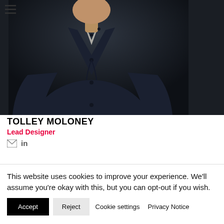[Figure (photo): Portrait photo of a person wearing a dark navy button-up shirt against a dark background, cropped to show torso and partial face/neck. A hamburger menu icon (three horizontal lines) is visible in the upper left corner.]
TOLLEY MOLONEY
Lead Designer
[Figure (infographic): Email icon and LinkedIn 'in' icon for social media contact links]
This website uses cookies to improve your experience. We'll assume you're okay with this, but you can opt-out if you wish.
Accept
Reject
Cookie settings
Privacy Notice